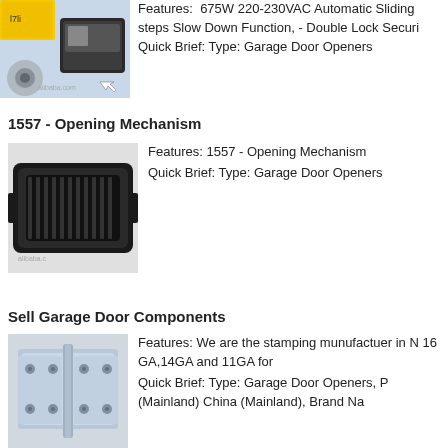[Figure (photo): Garage door opener product photo (cropped at top)]
Features: 675W 220-230VAC Automatic Sliding steps Slow Down Function, - Double Lock Security Quick Brief: Type: Garage Door Openers
1557 - Opening Mechanism
[Figure (photo): 1557 Opening Mechanism - black plastic component photo]
Features: 1557 - Opening Mechanism Quick Brief: Type: Garage Door Openers
Sell Garage Door Components
[Figure (photo): Garage door hinge/bracket component, metallic silver]
Features: We are the stamping munufactuer in N 16 GA,14GA and 11GA for Quick Brief: Type: Garage Door Openers, P (Mainland) China (Mainland), Brand Na